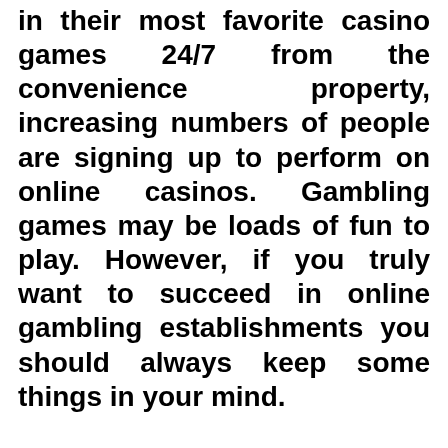in their most favorite casino games 24/7 from the convenience property, increasing numbers of people are signing up to perform on online casinos. Gambling games may be loads of fun to play. However, if you truly want to succeed in online gambling establishments you should always keep some things in your mind.
First thing that you have to know so that you can become successful on earth of Online gambling is online casino houses work with the main that this home has got the advantage over